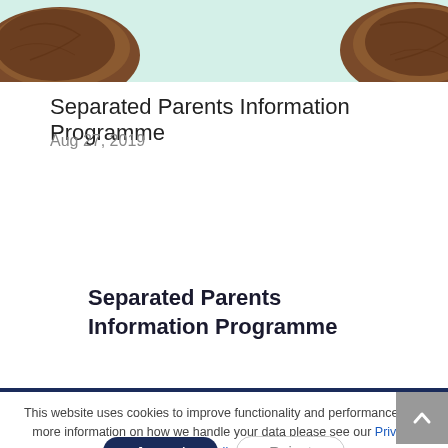[Figure (photo): Partial top image showing wooden/cork-like rounded objects on a mint/teal background, cropped at top]
Separated Parents Information Programme
Aug 27, 2019
Separated Parents Information Programme
This website uses cookies to improve functionality and performance. For more information on how we handle your data please see our Privacy Policy
Accept
Reject